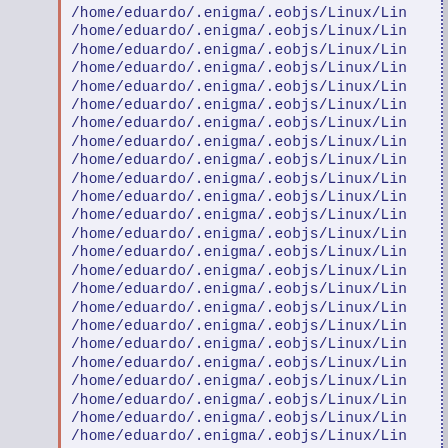/home/eduardo/.enigma/.eobjs/Linux/Lin (repeated ~28 times)